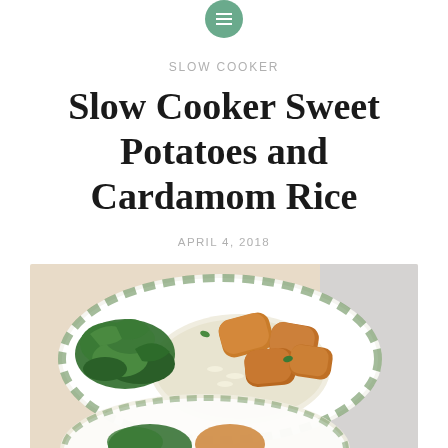SLOW COOKER
Slow Cooker Sweet Potatoes and Cardamom Rice
APRIL 4, 2018
[Figure (photo): A bowl with white rice, roasted orange sweet potato chunks, and wilted dark green spinach/greens, garnished with herbs. A decorative white bowl with green herb pattern is visible. Blurred background with another bowl in foreground.]